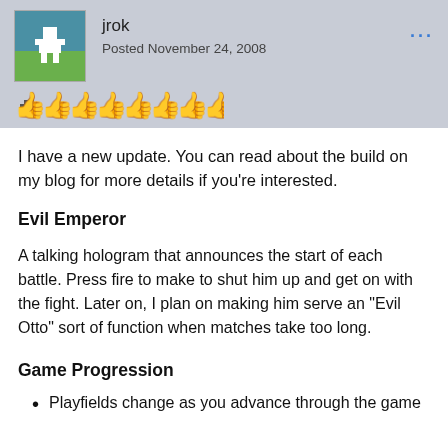jrok
Posted November 24, 2008
I have a new update. You can read about the build on my blog for more details if you're interested.
Evil Emperor
A talking hologram that announces the start of each battle. Press fire to make to shut him up and get on with the fight. Later on, I plan on making him serve an "Evil Otto" sort of function when matches take too long.
Game Progression
Playfields change as you advance through the game